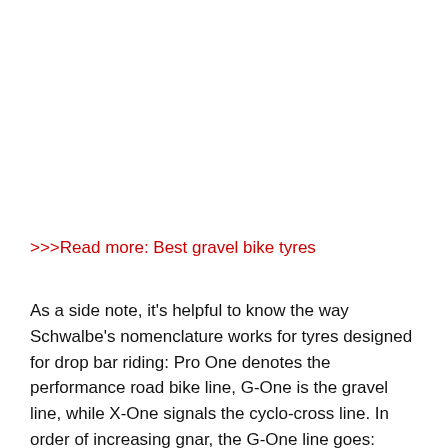>>>Read more: Best gravel bike tyres
As a side note, it's helpful to know the way Schwalbe's nomenclature works for tyres designed for drop bar riding: Pro One denotes the performance road bike line, G-One is the gravel line, while X-One signals the cyclo-cross line. In order of increasing gnar, the G-One line goes: Speed